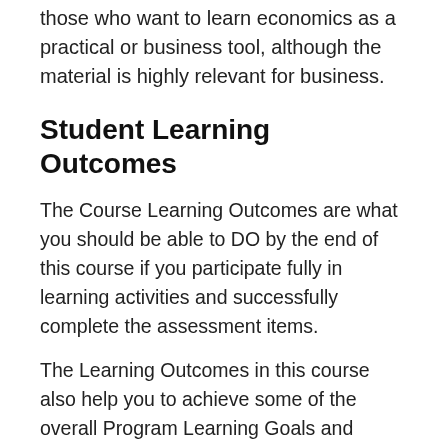those who want to learn economics as a practical or business tool, although the material is highly relevant for business.
Student Learning Outcomes
The Course Learning Outcomes are what you should be able to DO by the end of this course if you participate fully in learning activities and successfully complete the assessment items.
The Learning Outcomes in this course also help you to achieve some of the overall Program Learning Goals and Outcomes for all undergraduate and postgraduate coursework students in the Business School. Program Learning Goals are what we want you to BE or